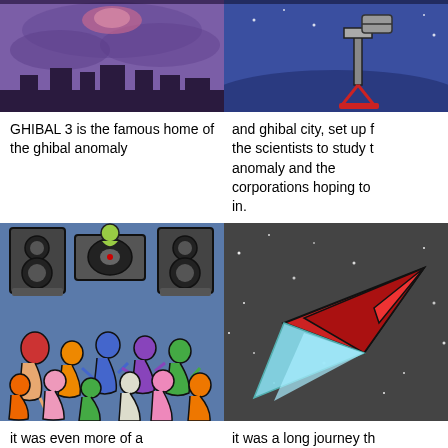[Figure (illustration): Illustration of a purple sky scene, top portion visible, depicting an alien city landscape.]
[Figure (illustration): Illustration of a blue scene with a telescope or scientific instrument on a blue landscape.]
GHIBAL 3 is the famous home of the ghibal anomaly
and ghibal city, set up for the scientists to study the anomaly and the corporations hoping to cash in.
[Figure (illustration): Illustration of a colorful crowd of alien/cartoon characters dancing at a party with large speakers in the background.]
[Figure (illustration): Illustration of a red paper airplane or rocket with a cyan trail flying through dark space with stars.]
it was even more of a happening place back then!
it was a long journey th...